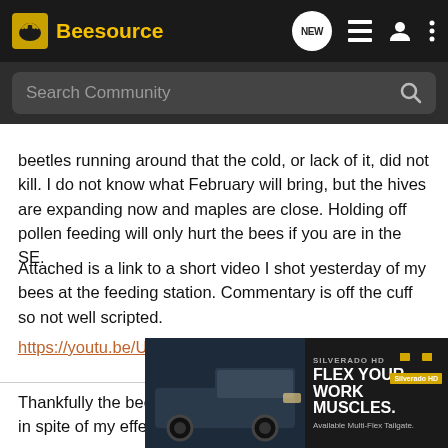Beesource
beetles running around that the cold, or lack of it, did not kill. I do not know what February will bring, but the hives are expanding now and maples are close. Holding off pollen feeding will only hurt the bees if you are in the SE.
Attached is a link to a short video I shot yesterday of my bees at the feeding station. Commentary is off the cuff so not well scripted.
https://youtu.be/UCKk3VSdgQc
Thankfully the bees survived the winter. They survived in spite of my effe...
[Figure (screenshot): Chevrolet Silverado HD advertisement overlay reading FLEX YOUR WORK MUSCLES. Available Multi-Flex Tailgate. Silverado HD.]